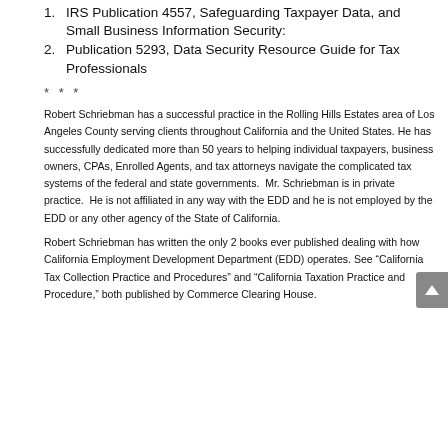1. IRS Publication 4557, Safeguarding Taxpayer Data, and Small Business Information Security:
2. Publication 5293, Data Security Resource Guide for Tax Professionals
* * *
Robert Schriebman has a successful practice in the Rolling Hills Estates area of Los Angeles County serving clients throughout California and the United States. He has successfully dedicated more than 50 years to helping individual taxpayers, business owners, CPAs, Enrolled Agents, and tax attorneys navigate the complicated tax systems of the federal and state governments. Mr. Schriebman is in private practice. He is not affiliated in any way with the EDD and he is not employed by the EDD or any other agency of the State of California.
Robert Schriebman has written the only 2 books ever published dealing with how California Employment Development Department (EDD) operates. See “California Tax Collection Practice and Procedures” and “California Taxation Practice and Procedure,” both published by Commerce Clearing House.